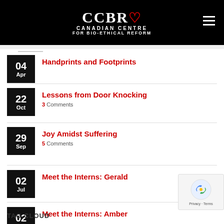CCBR Canadian Centre for Bio-Ethical Reform
04 Apr - Handprints and Footprints
22 Oct - Lessons from Door Knocking - 3 Comments
29 Sep - Joy Amidst Suffering - 5 Comments
02 Jul - Meet the Interns: Gerald
02 Jul - Meet the Interns: Amber
TAG CLOUD